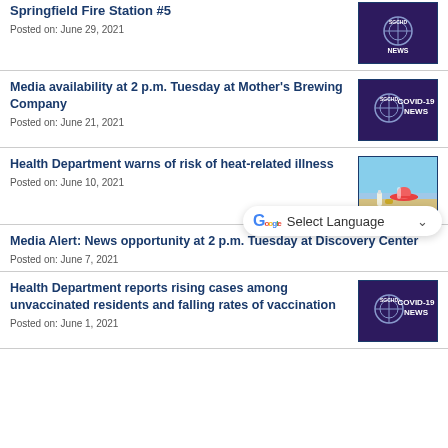Springfield Fire Station #5
Posted on: June 29, 2021
Media availability at 2 p.m. Tuesday at Mother's Brewing Company
Posted on: June 21, 2021
Health Department warns of risk of heat-related illness
Posted on: June 10, 2021
Media Alert: News opportunity at 2 p.m. Tuesday at Discovery Center
Posted on: June 7, 2021
Health Department reports rising cases among unvaccinated residents and falling rates of vaccination
Posted on: June 1, 2021